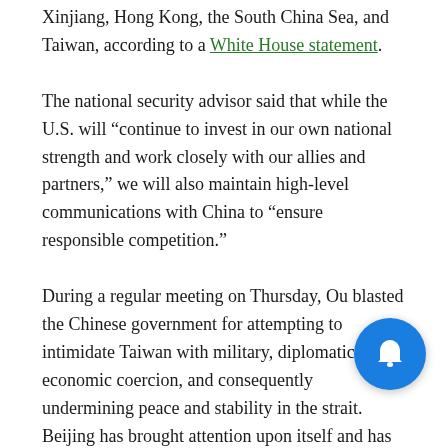Xinjiang, Hong Kong, the South China Sea, and Taiwan, according to a White House statement.
The national security advisor said that while the U.S. will “continue to invest in our own national strength and work closely with our allies and partners,” we will also maintain high-level communications with China to “ensure responsible competition.”
During a regular meeting on Thursday, Ou blasted the Chinese government for attempting to intimidate Taiwan with military, diplomatic, and economic coercion, and consequently undermining peace and stability in the strait. Beijing has brought attention upon itself and has many countries including the U.S. concerned for Taiwan’s national security, Liberty Times cited her as saying.
[Figure (other): Blue circular notification bell button in the bottom-right area of the page]